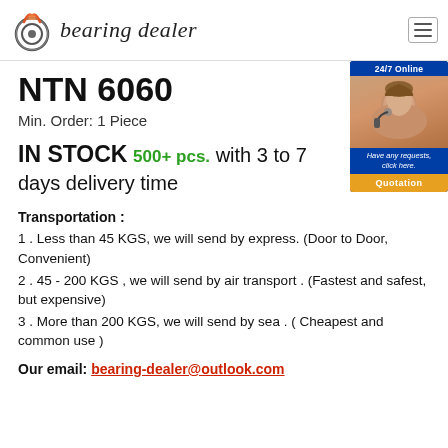bearing dealer
NTN 6060
Min. Order: 1 Piece
IN STOCK 500+ pcs. with 3 to 7 days delivery time
[Figure (photo): 24/7 Online customer service representative chat box with photo of woman with headset, 'Have any requests, click here.' and 'Quotation' button]
Transportation :
1 . Less than 45 KGS, we will send by express. (Door to Door, Convenient)
2 . 45 - 200 KGS , we will send by air transport . (Fastest and safest, but expensive)
3 . More than 200 KGS, we will send by sea . ( Cheapest and common use )
Our email: bearing-dealer@outlook.com